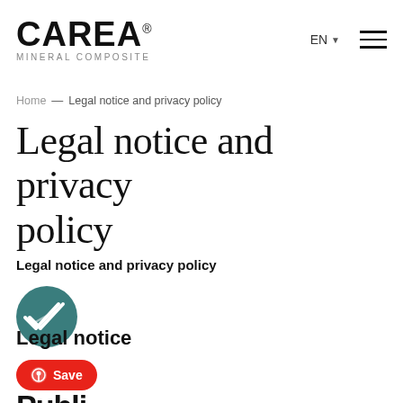[Figure (logo): CAREA Mineral Composite logo with registered trademark symbol]
[Figure (infographic): Language selector showing EN with dropdown arrow and hamburger menu icon]
Home — Legal notice and privacy policy
Legal notice and privacy policy
Legal notice and privacy policy
[Figure (illustration): Teal circular icon with double checkmark]
Legal notice
[Figure (illustration): Pinterest Save button - red rounded rectangle with Pinterest logo and Save text]
Publi...